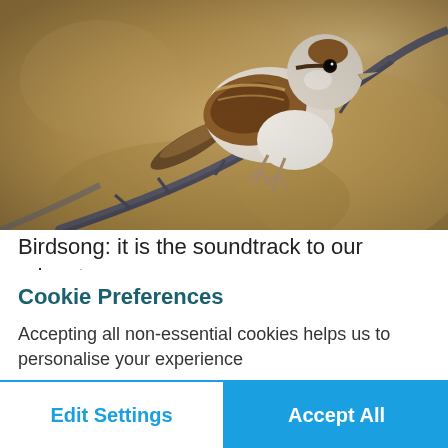[Figure (photo): A small sparrow-like bird with brown and white plumage perched on a thorny branch, set against a soft golden-tan blurred background.]
Birdsong: it is the soundtrack to our adventures, the tunes to which we explore. This is your guide
Cookie Preferences
Accepting all non-essential cookies helps us to personalise your experience
Edit Settings
Accept All